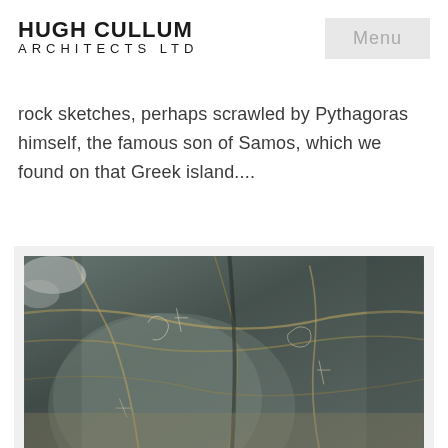HUGH CULLUM
ARCHITECTS LTD
Menu
rock sketches, perhaps scrawled by Pythagoras himself, the famous son of Samos, which we found on that Greek island....
[Figure (photo): Close-up photograph of dark grey rock surface with light-coloured veins and scratched markings or sketches on the rock face]